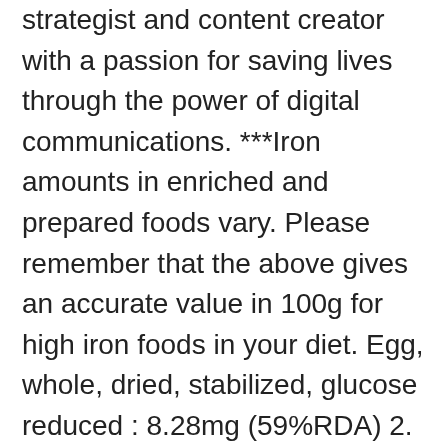strategist and content creator with a passion for saving lives through the power of digital communications. ***Iron amounts in enriched and prepared foods vary. Please remember that the above gives an accurate value in 100g for high iron foods in your diet. Egg, whole, dried, stabilized, glucose reduced : 8.28mg (59%RDA) 2. IRON (MGs) MEAT, POULTRY, EGGS Beef (average cut) 3.5 oz., cooked. 2020 OneBlood. EXPERT TIPS: 10 foods that help increase fertility